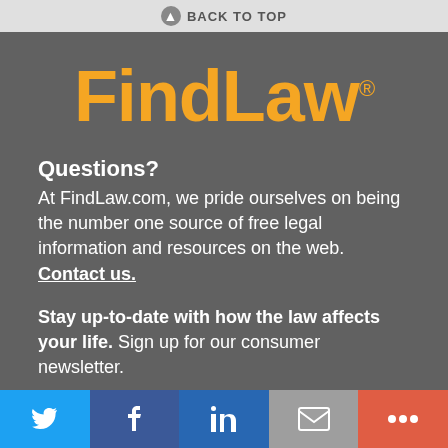BACK TO TOP
[Figure (logo): FindLaw orange logo with registered trademark symbol]
Questions?
At FindLaw.com, we pride ourselves on being the number one source of free legal information and resources on the web. Contact us.
Stay up-to-date with how the law affects your life. Sign up for our consumer newsletter.
ENTER YOUR EMAIL ADDRESS
[Figure (screenshot): Email input field with orange submit button]
Twitter | Facebook | LinkedIn | Email | More social icons